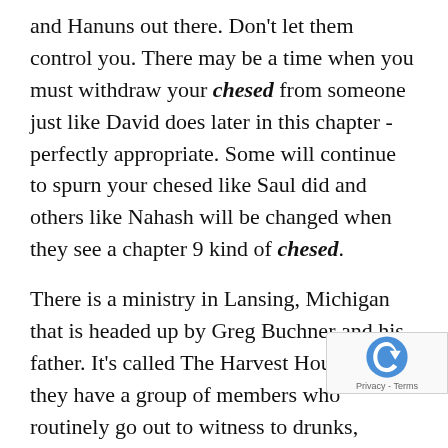and Hanuns out there. Don't let them control you. There may be a time when you must withdraw your chesed from someone just like David does later in this chapter - perfectly appropriate. Some will continue to spurn your chesed like Saul did and others like Nahash will be changed when they see a chapter 9 kind of chesed.
There is a ministry in Lansing, Michigan that is headed up by Greg Buchner and his father. It's called The Harvest House. And they have a group of members who routinely go out to witness to drunks, prostitutes, drug dealers, and homeless people downtown. And by the way, when M Elliott offers to take you downtown witnes...